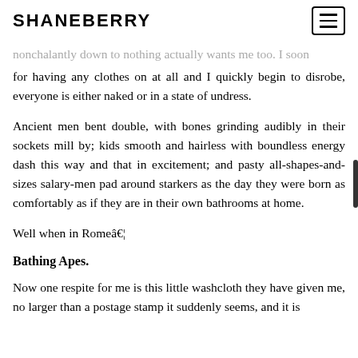SHANEBERRY
nonchalantly down to nothing actually wants me too. I soon for having any clothes on at all and I quickly begin to disrobe, everyone is either naked or in a state of undress.
Ancient men bent double, with bones grinding audibly in their sockets mill by; kids smooth and hairless with boundless energy dash this way and that in excitement; and pasty all-shapes-and-sizes salary-men pad around starkers as the day they were born as comfortably as if they are in their own bathrooms at home.
Well when in Romeâ€¦
Bathing Apes.
Now one respite for me is this little washcloth they have given me, no larger than a postage stamp it suddenly seems, and it is